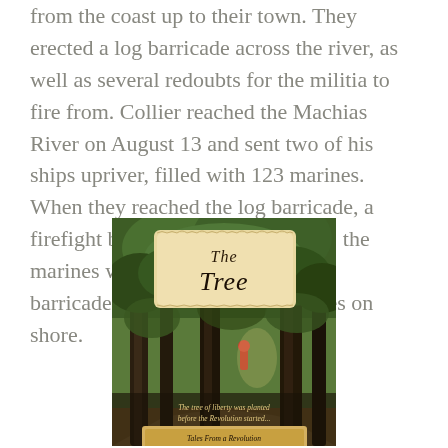from the coast up to their town. They erected a log barricade across the river, as well as several redoubts for the militia to fire from. Collier reached the Machias River on August 13 and sent two of his ships upriver, filled with 123 marines. When they reached the log barricade, a firefight began. The following day, the marines were able to break up the barricade, land and capture supplies on shore.
[Figure (illustration): Book cover of 'The Tree' — Tales From a Revolution: New-Hampshire. Shows a forest scene with tall trees, a path, and figures in the background. A parchment-style title card at top reads 'The Tree' in script. Bottom text reads 'The tree of liberty was planted before the Revolution started...' and 'Tales From a Revolution New-Hampshire'.]